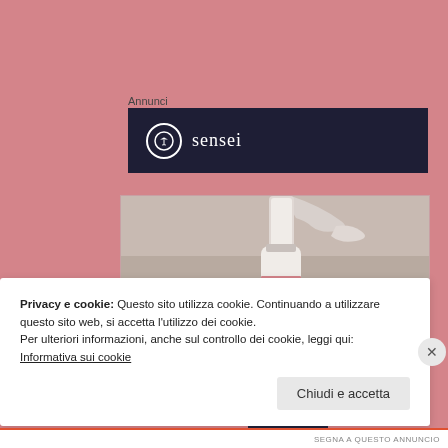Annunci
[Figure (logo): Sensei brand advertisement banner — dark navy background with a white circle containing a stylized bonsai tree icon, and the text 'sensei' in white letters]
[Figure (photo): Close-up photograph of a pink pump dispenser bottle against a beige/grey background]
Privacy e cookie: Questo sito utilizza cookie. Continuando a utilizzare questo sito web, si accetta l'utilizzo dei cookie.
Per ulteriori informazioni, anche sul controllo dei cookie, leggi qui:
Informativa sui cookie
Chiudi e accetta